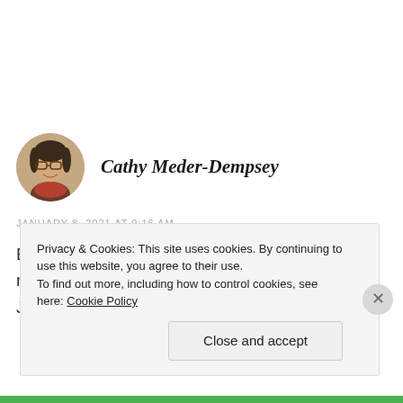Cathy Meder-Dempsey
JANUARY 8, 2021 AT 9:16 AM
By presenting the information you've given your reader a chance to follow-up, if interested. From Jackie's comment, your theory may not be all
Privacy & Cookies: This site uses cookies. By continuing to use this website, you agree to their use.
To find out more, including how to control cookies, see here: Cookie Policy
Close and accept